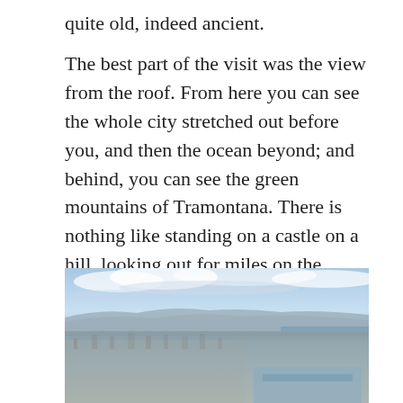quite old, indeed ancient.
The best part of the visit was the view from the roof. From here you can see the whole city stretched out before you, and then the ocean beyond; and behind, you can see the green mountains of Tramontana. There is nothing like standing on a castle on a hill, looking out for miles on the surroundings. If you're imaginative enough, and my imagination is typically overactive, you can easily feel like a king.
[Figure (photo): A panoramic photograph showing a coastal city viewed from an elevated position, with a harbour, urban buildings spread across the landscape, mountains in the background, and a partly cloudy blue sky above.]